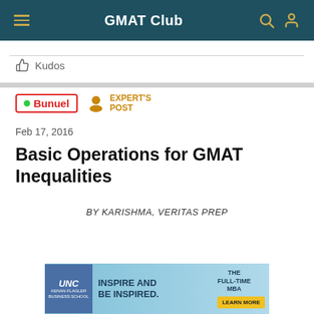GMAT Club
Kudos
Bunuel  EXPERT'S POST  Feb 17, 2016
Basic Operations for GMAT Inequalities
BY KARISHMA, VERITAS PREP
[Figure (other): UNC Kenan-Flagler Business School advertisement banner: INSPIRE AND BE INSPIRED. THE FULL-TIME MBA. LEARN MORE button.]